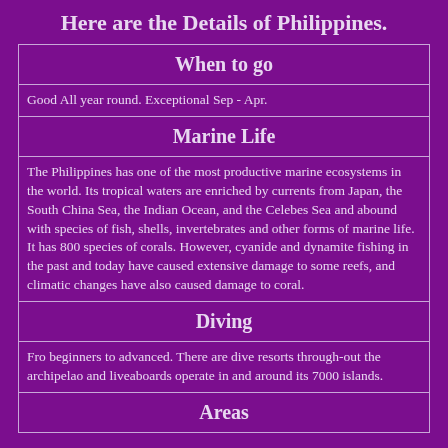Here are the Details of Philippines.
| When to go |
| Good All year round. Exceptional Sep - Apr. |
| Marine Life |
| The Philippines has one of the most productive marine ecosystems in the world. Its tropical waters are enriched by currents from Japan, the South China Sea, the Indian Ocean, and the Celebes Sea and abound with species of fish, shells, invertebrates and other forms of marine life. It has 800 species of corals. However, cyanide and dynamite fishing in the past and today have caused extensive damage to some reefs, and climatic changes have also caused damage to coral. |
| Diving |
| Fro beginners to advanced. There are dive resorts through-out the archipelao and liveaboards operate in and around its 7000 islands. |
| Areas |